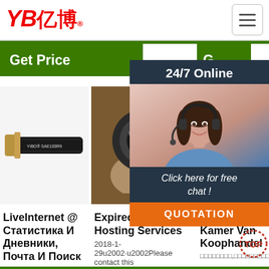YB亿博® — logo and hamburger menu
Get Price
G (Get Price - partially visible)
24/7 Online
[Figure (photo): Black rubber hydraulic hose with gold fitting end, labeled YIBO SAE100R9]
[Figure (photo): Hand holding a black hydraulic hose end, cross-section view showing inner bore]
[Figure (photo): Partially visible third product image]
[Figure (photo): Customer service agent woman with headset smiling, 24/7 online chat popup overlay with QUOTATION button]
Click here for free chat !
QUOTATION
LiveInternet @ Статистика И Дневники, Почта И Поиск
Expired DNS Hosting Services
KVK - Kamer Van Koophandel
2018-1-29u2002·u2002Please contact this
□□□□□□□□,□□□□□□□□□□□□□□□□